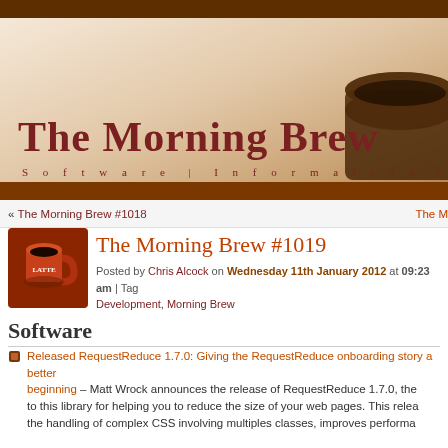[Figure (illustration): The Morning Brew website header banner with coffee cup image, gradient beige/brown background, dark brown top bar, site title and subtitle]
The Morning Brew
Software | Information | Community
« The Morning Brew #1018    The M
The Morning Brew #1019
Posted by Chris Alcock on Wednesday 11th January 2012 at 09:23 am | Tags: Development, Morning Brew
Software
Released RequestReduce 1.7.0: Giving the RequestReduce onboarding story a better beginning – Matt Wrock announces the release of RequestReduce 1.7.0, the to this library for helping you to reduce the size of your web pages. This relea the handling of complex CSS involving multiples classes, improves performa